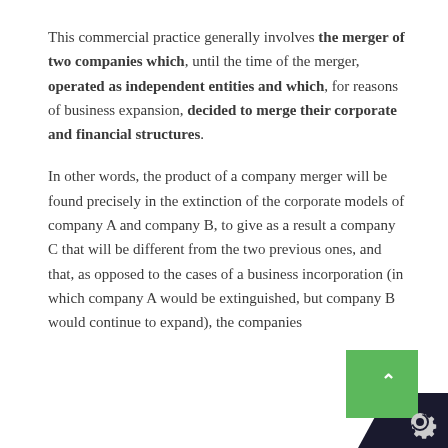This commercial practice generally involves the merger of two companies which, until the time of the merger, operated as independent entities and which, for reasons of business expansion, decided to merge their corporate and financial structures.
In other words, the product of a company merger will be found precisely in the extinction of the corporate models of company A and company B, to give as a result a company C that will be different from the two previous ones, and that, as opposed to the cases of a business incorporation (in which company A would be extinguished, but company B would continue to expand), the companies